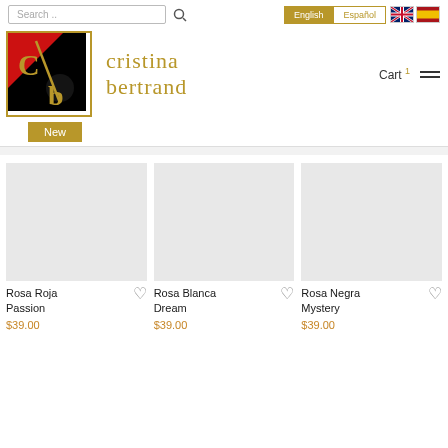[Figure (screenshot): Website header with search bar, language toggle buttons (English/Español), flag icons, Cristina Bertrand logo, brand name, cart, navigation with New button, and product grid showing Rosa Roja Passion, Rosa Blanca Dream, Rosa Negra Mystery at $39.00 each]